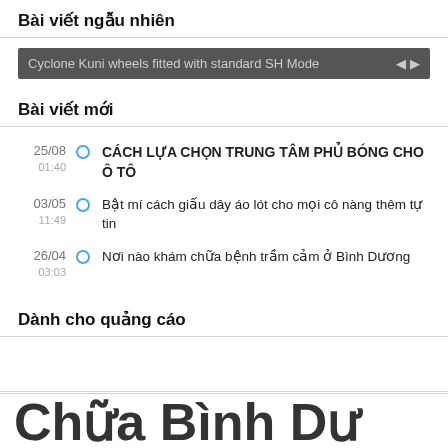Bài viết ngẫu nhiên
[Figure (screenshot): A dark grey slider/carousel bar with text 'Cyclone Kuni wheels fitted with standard SH Mode' and left/right navigation arrows on the right side]
Bài viết mới
25/08 01:40 — CÁCH LỰA CHỌN TRUNG TÂM PHỦ BÓNG CHO Ô TÔ
03/05 11:49 — Bật mí cách giấu dây áo lót cho mọi cô nàng thêm tự tin
26/04 03:03 — Nơi nào khám chữa bệnh trầm cảm ở Bình Dương
Dành cho quảng cáo
Chữ Bình Dư...  (partial large text at bottom)